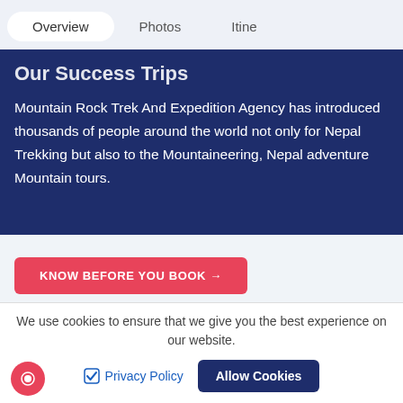Overview | Photos | Itine…
Our Success Trips
Mountain Rock Trek And Expedition Agency has introduced thousands of people around the world not only for Nepal Trekking but also to the Mountaineering, Nepal adventure Mountain tours.
KNOW BEFORE YOU BOOK →
You'll See
We use cookies to ensure that we give you the best experience on our website.
Privacy Policy  Allow Cookies